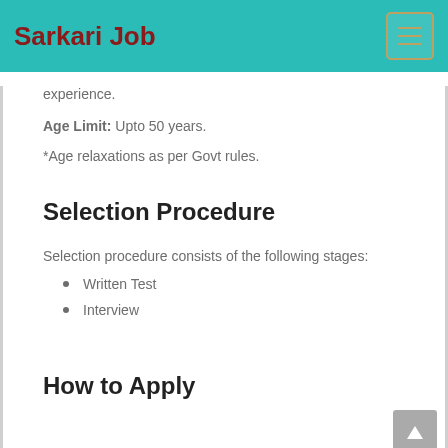Sarkari Job
experience.
Age Limit: Upto 50 years.
*Age relaxations as per Govt rules.
Selection Procedure
Selection procedure consists of the following stages:
Written Test
Interview
How to Apply